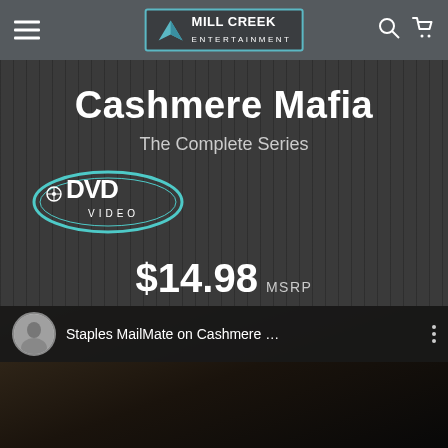Mill Creek Entertainment — navigation header with hamburger menu, logo, search and cart icons
Cashmere Mafia
The Complete Series
[Figure (logo): DVD Video logo badge — oval outline with DVD VIDEO text]
$14.98 MSRP
🛒 BUY NOW
[Figure (screenshot): Video thumbnail overlay showing 'Staples MailMate on Cashmere ...' with avatar of a man and three-dot menu]